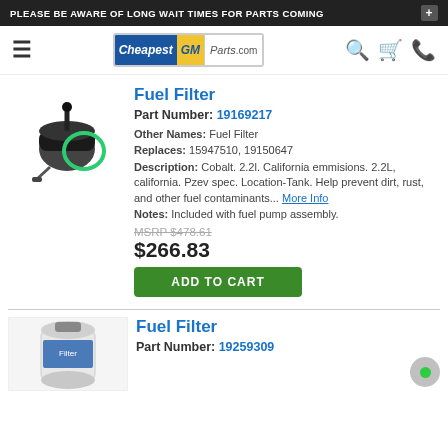PLEASE BE AWARE OF LONG WAIT TIMES FOR PARTS COMING +
[Figure (logo): CheapestGMParts.com logo with navigation icons]
Fuel Filter
Part Number: 19169217
Other Names: Fuel Filter
Replaces: 15947510, 19150647
Description: Cobalt. 2.2l. California emmisions. 2.2L, california. Pzev spec. Location-Tank. Help prevent dirt, rust, and other fuel contaminants... More Info
Notes: Included with fuel pump assembly.
MSRP $478.61
$266.83
ADD TO CART
[Figure (photo): Fuel filter part image - black cylindrical filter]
Fuel Filter
Part Number: 19259309